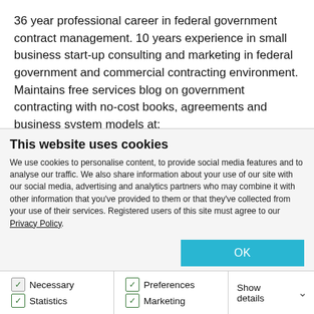36 year professional career in federal government contract management. 10 years experience in small business start-up consulting and marketing in federal government and commercial contracting environment. Maintains free services blog on government contracting with no-cost books, agreements and business system models at: http://www.smalltofeds.com
Hands on experience in business planning, proposal preparation, contract negotiation financial analysis...
This website uses cookies
We use cookies to personalise content, to provide social media features and to analyse our traffic. We also share information about your use of our site with our social media, advertising and analytics partners who may combine it with other information that you've provided to them or that they've collected from your use of their services. Registered users of this site must agree to our Privacy Policy.